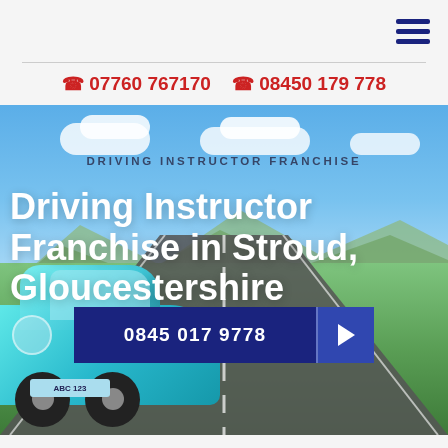Navigation menu (hamburger icon)
📞 07760 767170  📞 08450 179 778
[Figure (photo): Hero banner image showing a winding road through green countryside with blue sky and clouds, a teal/blue Toyota car visible at lower left, overlaid with text 'DRIVING INSTRUCTOR FRANCHISE' and 'Driving Instructor Franchise in Stroud, Gloucestershire', and a dark blue call button showing '0845 017 9778' with a right-arrow button.]